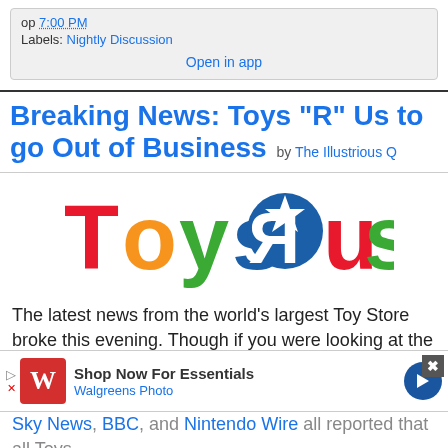op 7:00 PM
Labels: Nightly Discussion
Open in app
Breaking News: Toys "R" Us to go Out of Business by The Illustrious Q
[Figure (logo): Toys R Us colorful logo with backwards R and star]
The latest news from the world's largest Toy Store broke this evening. Though if you were looking at the United Kingdom this morning, the writing was more or less on the wall.
Sky News, BBC, and Nintendo Wire all reported that all Toys
[Figure (screenshot): Walgreens Photo advertisement banner: Shop Now For Essentials, Walgreens Photo]